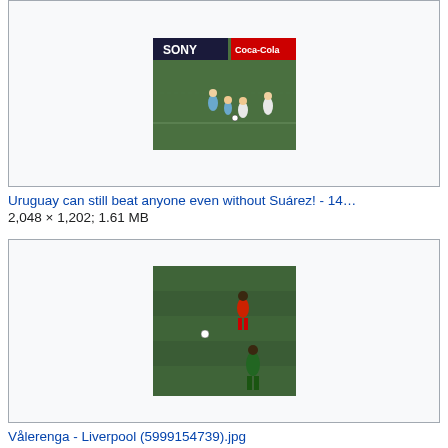[Figure (photo): Soccer match photo showing players on green field with Sony and Coca-Cola advertising boards, Uruguay vs opponent]
Uruguay can still beat anyone even without Suárez! - 14…
2,048 × 1,202; 1.61 MB
[Figure (photo): Soccer practice photo showing players on green field, Vålerenga vs Liverpool match]
Vålerenga - Liverpool (5999154739).jpg
2,359 × 1,769; 1.42 MB